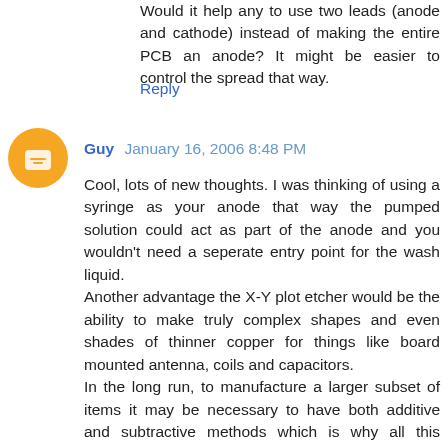Would it help any to use two leads (anode and cathode) instead of making the entire PCB an anode? It might be easier to control the spread that way.
Reply
Guy January 16, 2006 8:48 PM
Cool, lots of new thoughts. I was thinking of using a syringe as your anode that way the pumped solution could act as part of the anode and you wouldn't need a seperate entry point for the wash liquid.
Another advantage the X-Y plot etcher would be the ability to make truly complex shapes and even shades of thinner copper for things like board mounted antenna, coils and capacitors.
In the long run, to manufacture a larger subset of items it may be necessary to have both additive and subtractive methods which is why all this alternative thinking is good.
On the binder/graphite issue: there are probably glues/binders that would handle solder level heat. How about a sodium silicate solution?
Reply